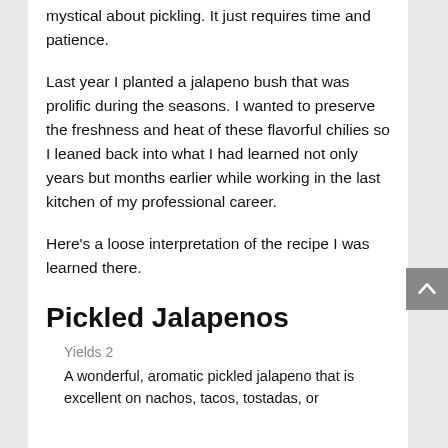mystical about pickling. It just requires time and patience.
Last year I planted a jalapeno bush that was prolific during the seasons. I wanted to preserve the freshness and heat of these flavorful chilies so I leaned back into what I had learned not only years but months earlier while working in the last kitchen of my professional career.
Here's a loose interpretation of the recipe I was learned there.
Pickled Jalapenos
Yields 2
A wonderful, aromatic pickled jalapeno that is excellent on nachos, tacos, tostadas, or